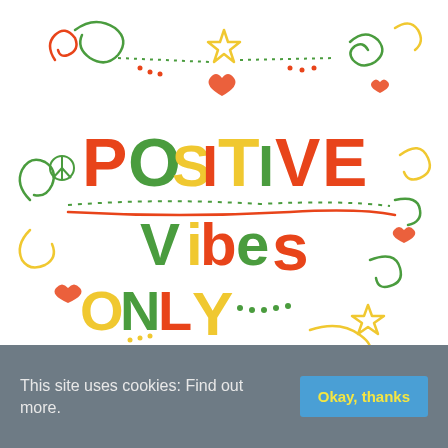[Figure (illustration): Colorful hand-lettered doodle art with the text 'Positive Vibes Only' in red, green, and yellow lettering, surrounded by decorative swirls, stars, hearts, dots, and peace symbols on a white background.]
This site uses cookies: Find out more.
Okay, thanks